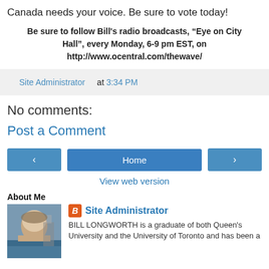Canada needs your voice. Be sure to vote today!
Be sure to follow Bill's radio broadcasts, “Eye on City Hall”, every Monday, 6-9 pm EST, on http://www.ocentral.com/thewave/
Site Administrator at 3:34 PM
No comments:
Post a Comment
Home
View web version
About Me
[Figure (photo): Photo of a person outdoors with a building/tower in background]
Site Administrator
BILL LONGWORTH is a graduate of both Queen's University and the University of Toronto and has been a